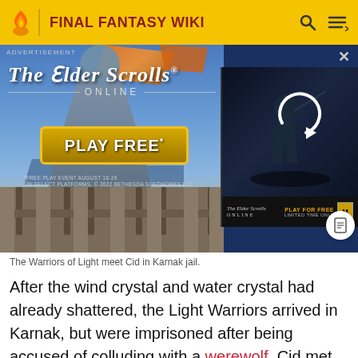FINAL FANTASY WIKI
[Figure (screenshot): Advertisement for The Elder Scrolls Online showing 'PLAY FREE' banner with medieval battle scene and a secondary video panel with a refresh/reload icon and 'PLAY FOR FREE LIMITED TIME ONLY' text. Below the ad overlay is a pixel-art dungeon/jail scene.]
The Warriors of Light meet Cid in Karnak jail.
After the wind crystal and water crystal had already shattered, the Light Warriors arrived in Karnak, but were imprisoned after being accused of colluding with a werewolf. Cid met them while attempting to use an explosive to escape his prison cell, but instead arriving in